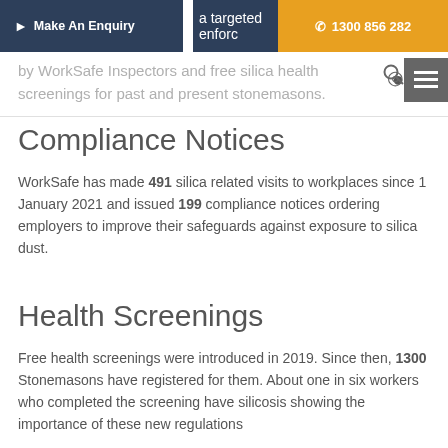Make An Enquiry | a targeted enforcement | 1300 856 282
by WorkSafe Inspectors and free silica health screenings for past and present stonemasons.
Compliance Notices
WorkSafe has made 491 silica related visits to workplaces since 1 January 2021 and issued 199 compliance notices ordering employers to improve their safeguards against exposure to silica dust.
Health Screenings
Free health screenings were introduced in 2019. Since then, 1300 Stonemasons have registered for them. About one in six workers who completed the screening have silicosis showing the importance of these new regulations